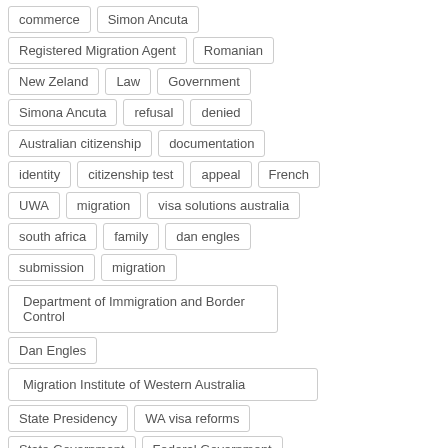commerce
Simon Ancuta
Registered Migration Agent
Romanian
New Zeland
Law
Government
Simona Ancuta
refusal
denied
Australian citizenship
documentation
identity
citizenship test
appeal
French
UWA
migration
visa solutions australia
south africa
family
dan engles
submission
migration
Department of Immigration and Border Control
Dan Engles
Migration Institute of Western Australia
State Presidency
WA visa reforms
State Government
Federal Government